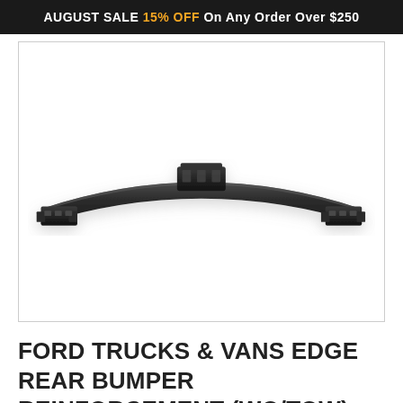AUGUST SALE 15% OFF On Any Order Over $250
[Figure (photo): Photograph of a black steel rear bumper reinforcement bar for Ford Trucks & Vans, curved shape with mounting brackets on each end and a central mounting bracket on top, shown on white background.]
FORD TRUCKS & VANS EDGE REAR BUMPER REINFORCEMENT (WO/TOW)